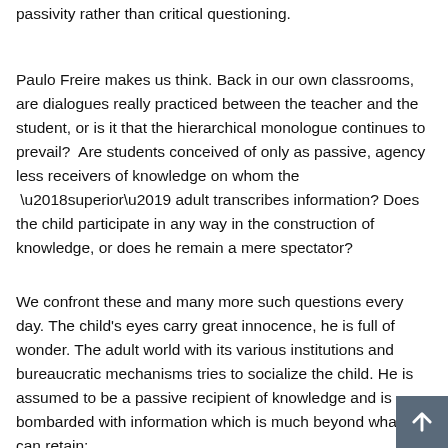passivity rather than critical questioning.
Paulo Freire makes us think. Back in our own classrooms, are dialogues really practiced between the teacher and the student, or is it that the hierarchical monologue continues to prevail?  Are students conceived of only as passive, agency less receivers of knowledge on whom the  ‘superior’ adult transcribes information? Does the child participate in any way in the construction of knowledge, or does he remain a mere spectator?
We confront these and many more such questions every day. The child's eyes carry great innocence, he is full of wonder. The adult world with its various institutions and bureaucratic mechanisms tries to socialize the child. He is assumed to be a passive recipient of knowledge and is bombarded with information which is much beyond what he can retain;